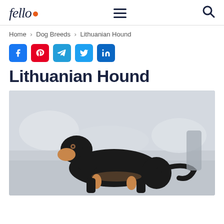fello. [hamburger menu] [search]
Home > Dog Breeds > Lithuanian Hound
[Figure (infographic): Social media share buttons: Facebook, Pinterest, Telegram, Twitter, LinkedIn]
Lithuanian Hound
[Figure (photo): A black and tan Lithuanian Hound dog standing outdoors in a snowy background, viewed from the side.]